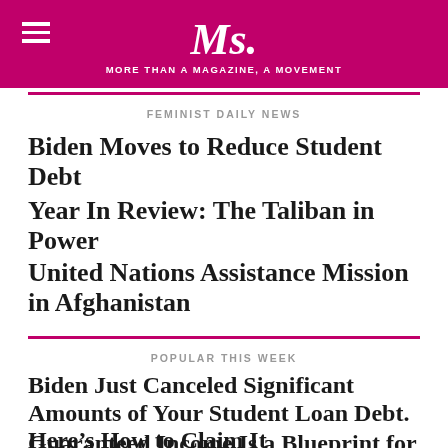Ms. MORE THAN A MAGAZINE, A MOVEMENT
FEMINIST DAILY NEWS
Biden Moves to Reduce Student Debt
Year In Review: The Taliban in Power
United Nations Assistance Mission in Afghanistan
POPULAR THIS WEEK
Biden Just Canceled Significant Amounts of Your Student Loan Debt. Here's How to Claim It
Guaranteed Income Is a Blueprint for a Better